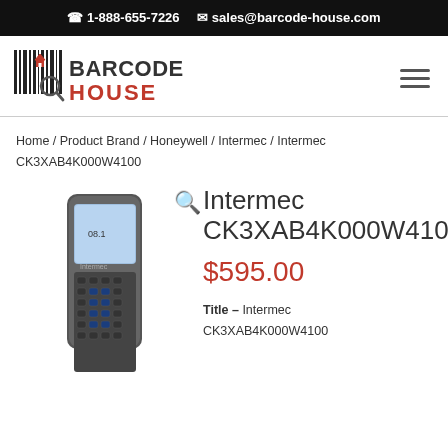1-888-655-7226  sales@barcode-house.com
[Figure (logo): Barcode House logo with barcode graphic and magnifying glass]
Home / Product Brand / Honeywell / Intermec / Intermec CK3XAB4K000W4100
[Figure (photo): Photo of Intermec CK3XAB4K000W4100 handheld barcode scanner device]
Intermec CK3XAB4K000W4100
$595.00
Title – Intermec CK3XAB4K000W4100